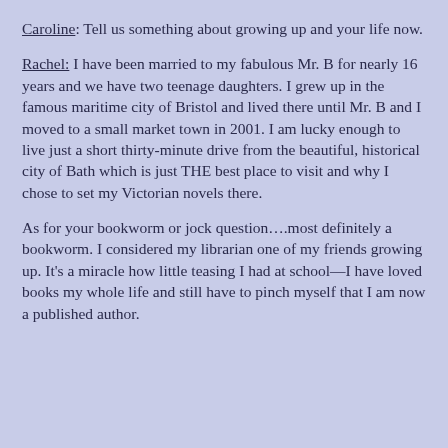Caroline: Tell us something about growing up and your life now.
Rachel: I have been married to my fabulous Mr. B for nearly 16 years and we have two teenage daughters. I grew up in the famous maritime city of Bristol and lived there until Mr. B and I moved to a small market town in 2001. I am lucky enough to live just a short thirty-minute drive from the beautiful, historical city of Bath which is just THE best place to visit and why I chose to set my Victorian novels there.
As for your bookworm or jock question….most definitely a bookworm. I considered my librarian one of my friends growing up. It's a miracle how little teasing I had at school—I have loved books my whole life and still have to pinch myself that I am now a published author.